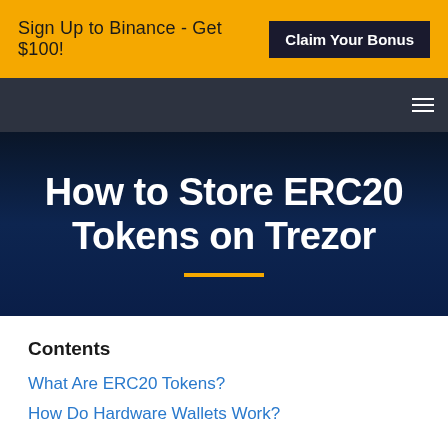Sign Up to Binance - Get $100! Claim Your Bonus
How to Store ERC20 Tokens on Trezor
Contents
What Are ERC20 Tokens?
How Do Hardware Wallets Work?